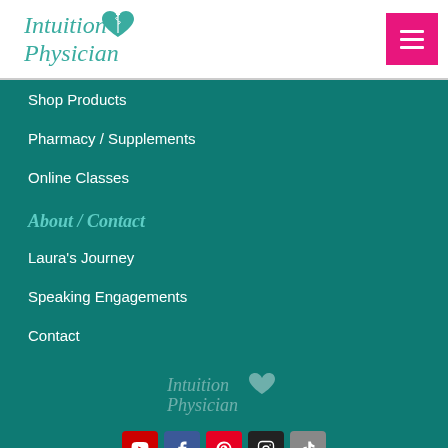Intuition Physician
Shop Products
Pharmacy / Supplements
Online Classes
About / Contact
Laura's Journey
Speaking Engagements
Contact
[Figure (logo): Intuition Physician footer logo watermark]
[Figure (infographic): Social media icons: YouTube, Facebook, Pinterest, Instagram, TikTok]